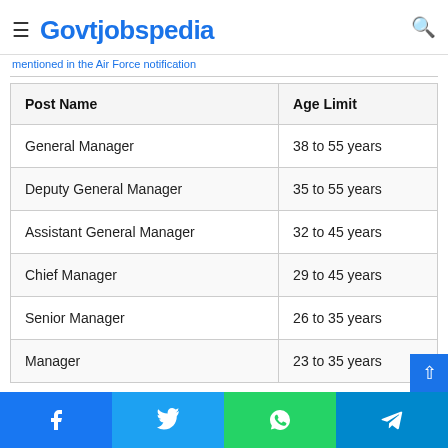Govtjobspedia
mentioned in the Air Force notification
| Post Name | Age Limit |
| --- | --- |
| General Manager | 38 to 55 years |
| Deputy General Manager | 35 to 55 years |
| Assistant General Manager | 32 to 45 years |
| Chief Manager | 29 to 45 years |
| Senior Manager | 26 to 35 years |
| Manager | 23 to 35 years |
Facebook | Twitter | WhatsApp | Telegram